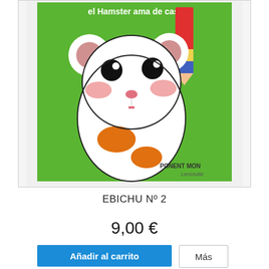[Figure (illustration): Book cover illustration of Ebichu, a cartoon hamster character on a green background holding a red pencil. The hamster is white with orange spots, rosy cheeks, and big black eyes. Text at top reads 'el Hamster ama de casa'. Publisher signature 'PONENT MON' and artist signature at bottom right.]
EBICHU Nº 2
9,00 €
Añadir al carrito
Más